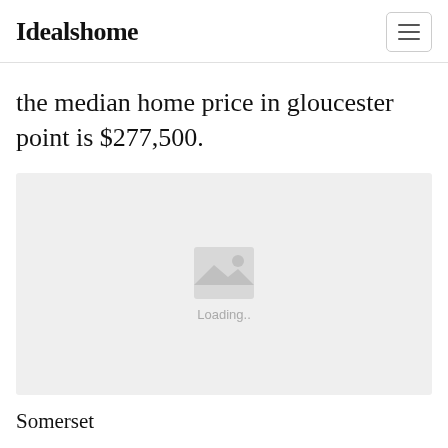Idealshome
the median home price in gloucester point is $277,500.
[Figure (photo): Loading image placeholder with mountain/image icon and 'Loading..' text on a light grey background]
Somerset